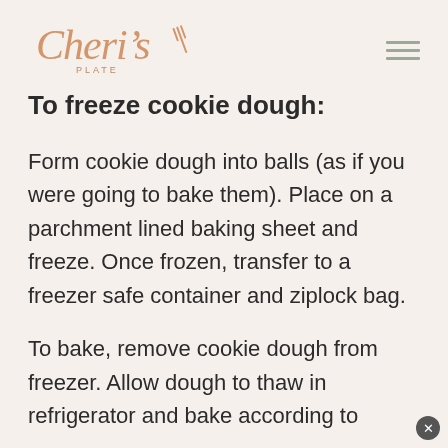Cheri's Plate
To freeze cookie dough:
Form cookie dough into balls (as if you were going to bake them). Place on a parchment lined baking sheet and freeze. Once frozen, transfer to a freezer safe container and ziplock bag.
To bake, remove cookie dough from freezer. Allow dough to thaw in refrigerator and bake according to